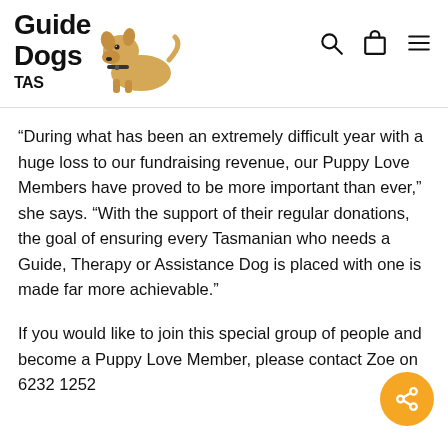Guide Dogs TAS
"During what has been an extremely difficult year with a huge loss to our fundraising revenue, our Puppy Love Members have proved to be more important than ever," she says. "With the support of their regular donations, the goal of ensuring every Tasmanian who needs a Guide, Therapy or Assistance Dog is placed with one is made far more achievable."
If you would like to join this special group of people and become a Puppy Love Member, please contact Zoe on 6232 1252